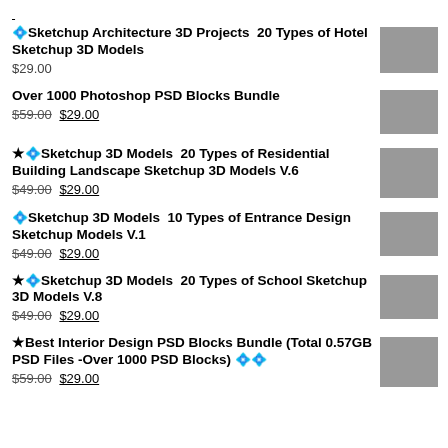💎Sketchup Architecture 3D Projects 20 Types of Hotel Sketchup 3D Models $29.00
Over 1000 Photoshop PSD Blocks Bundle $59.00 $29.00
★💎Sketchup 3D Models 20 Types of Residential Building Landscape Sketchup 3D Models V.6 $49.00 $29.00
💎Sketchup 3D Models 10 Types of Entrance Design Sketchup Models V.1 $49.00 $29.00
★💎Sketchup 3D Models 20 Types of School Sketchup 3D Models V.8 $49.00 $29.00
★Best Interior Design PSD Blocks Bundle (Total 0.57GB PSD Files -Over 1000 PSD Blocks) 💎💎 $59.00 $29.00